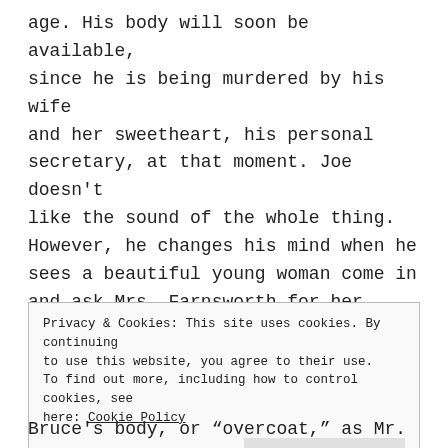age. His body will soon be available, since he is being murdered by his wife and her sweetheart, his personal secretary, at that moment. Joe doesn't like the sound of the whole thing. However, he changes his mind when he sees a beautiful young woman come in and ask Mrs. Farnsworth for her husband's help. She is Betty Logan, a young woman whose father was put in prison because Mr. Farnsworth sold
Privacy & Cookies: This site uses cookies. By continuing to use this website, you agree to their use.
To find out more, including how to control cookies, see here: Cookie Policy
[Close and accept]
Bruce's body, or “overcoat,” as Mr.